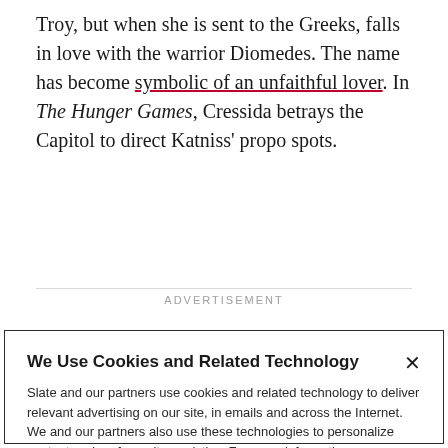Troy, but when she is sent to the Greeks, falls in love with the warrior Diomedes. The name has become symbolic of an unfaithful lover. In The Hunger Games, Cressida betrays the Capitol to direct Katniss' propo spots.
ADVERTISEMENT
We Use Cookies and Related Technology
Slate and our partners use cookies and related technology to deliver relevant advertising on our site, in emails and across the Internet. We and our partners also use these technologies to personalize content and perform site analytics. For more information, see our terms and privacy policy.  Privacy Policy